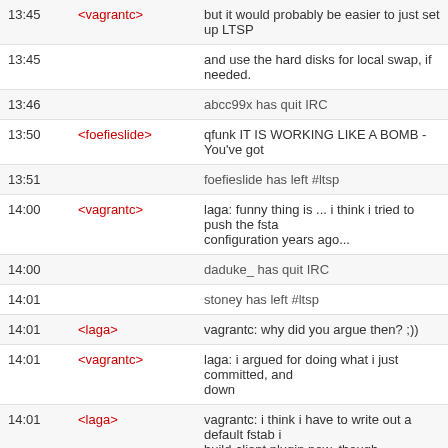| Time | Nick | Message |
| --- | --- | --- |
| 13:45 | <vagrantc> | but it would probably be easier to just set up LTSP |
| 13:45 |  | and use the hard disks for local swap, if needed. |
| 13:46 |  | abcc99x has quit IRC |
| 13:50 | <foefieslide> | qfunk IT IS WORKING LIKE A BOMB - You've got |
| 13:51 |  | foefieslide has left #ltsp |
| 14:00 | <vagrantc> | laga: funny thing is ... i think i tried to push the fsta configuration years ago... |
| 14:00 |  | daduke_ has quit IRC |
| 14:01 |  | stoney has left #ltsp |
| 14:01 | <laga> | vagrantc: why did you argue then? ;)) |
| 14:01 | <vagrantc> | laga: i argued for doing what i just committed, and down |
| 14:01 | <laga> | vagrantc: i think i have to write out a default fstab i build-client plugin now, though |
| 14:01 |  | or $stuff might explode |